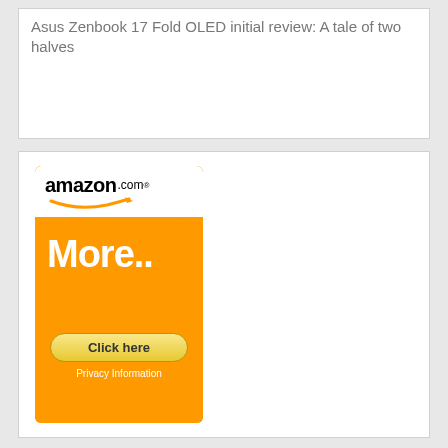Asus Zenbook 17 Fold OLED initial review: A tale of two halves
[Figure (advertisement): Amazon.com advertisement banner with orange background showing 'More..' text and a 'Click here' button with Privacy Information link]